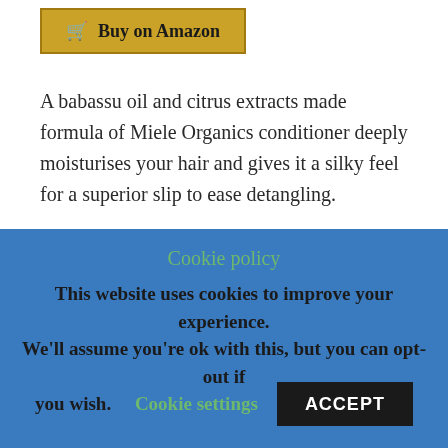[Figure (other): Buy on Amazon button with cart icon, gold/yellow background with dark border]
A babassu oil and citrus extracts made formula of Miele Organics conditioner deeply moisturises your hair and gives it a silky feel for a superior slip to ease detangling.
More so, during styling, it is a walkover, as all the dry and knotted strands are separated by the conditioner. Best formulated for curly Type 4 Textured Hair, but also okay for any curled hair.
Cookie policy
This website uses cookies to improve your experience. We'll assume you're ok with this, but you can opt-out if you wish.
Cookie settings  ACCEPT